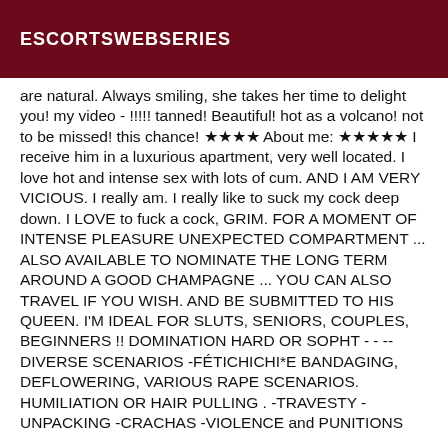ESCORTSWEBSERIES
are natural. Always smiling, she takes her time to delight you! my video - !!!!! tanned! Beautiful! hot as a volcano! not to be missed! this chance! ★★★★ About me: ★★★★★ I receive him in a luxurious apartment, very well located. I love hot and intense sex with lots of cum. AND I AM VERY VICIOUS. I really am. I really like to suck my cock deep down. I LOVE to fuck a cock, GRIM. FOR A MOMENT OF INTENSE PLEASURE UNEXPECTED COMPARTMENT ... ALSO AVAILABLE TO NOMINATE THE LONG TERM AROUND A GOOD CHAMPAGNE ... YOU CAN ALSO TRAVEL IF YOU WISH. AND BE SUBMITTED TO HIS QUEEN. I'M IDEAL FOR SLUTS, SENIORS, COUPLES, BEGINNERS !! DOMINATION HARD OR SOPHT - - -- DIVERSE SCENARIOS -FÉTICHICHI*E BANDAGING, DEFLOWERING, VARIOUS RAPE SCENARIOS. HUMILIATION OR HAIR PULLING . -TRAVESTY - UNPACKING -CRACHAS -VIOLENCE and PUNITIONS